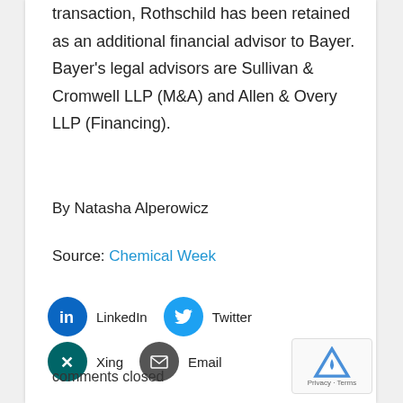transaction, Rothschild has been retained as an additional financial advisor to Bayer. Bayer's legal advisors are Sullivan & Cromwell LLP (M&A) and Allen & Overy LLP (Financing).
By Natasha Alperowicz
Source: Chemical Week
[Figure (infographic): Social sharing buttons: LinkedIn (blue circle with 'in' icon), Twitter (light blue circle with bird icon), Xing (dark teal circle with X icon), Email (dark grey circle with envelope icon)]
comments closed